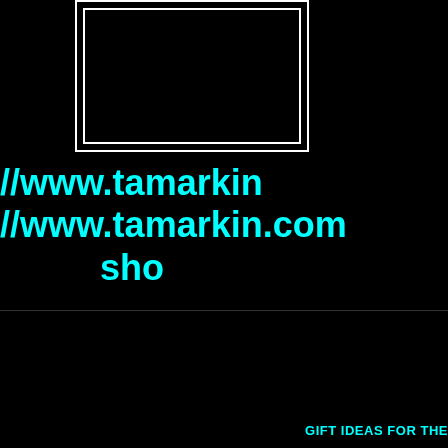[Figure (other): Nested white-bordered rectangles on black background]
http://www.tamarkin
http://www.tamarkin.com
sho
GIFT IDEAS FOR THE